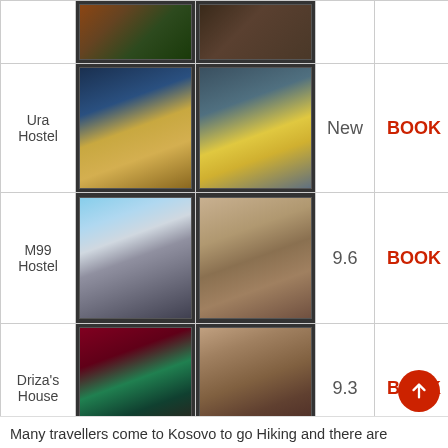| Name | Photo 1 | Photo 2 | Rating | Book |
| --- | --- | --- | --- | --- |
|  | [photo] | [photo] |  |  |
| Ura Hostel | [photo] | [photo] | New | BOOK |
| M99 Hostel | [photo] | [photo] | 9.6 | BOOK |
| Driza's House | [photo] | [photo] | 9.3 | BOOK |
Many travellers come to Kosovo to go Hiking and there are